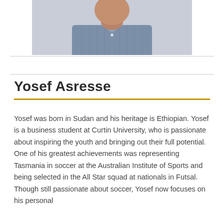[Figure (photo): Cropped photo of Yosef Asresse wearing a blue linen shirt, shown from chest/neck up]
Yosef Asresse
Yosef was born in Sudan and his heritage is Ethiopian. Yosef is a business student at Curtin University, who is passionate about inspiring the youth and bringing out their full potential. One of his greatest achievements was representing Tasmania in soccer at the Australian Institute of Sports and being selected in the All Star squad at nationals in Futsal. Though still passionate about soccer, Yosef now focuses on his personal…